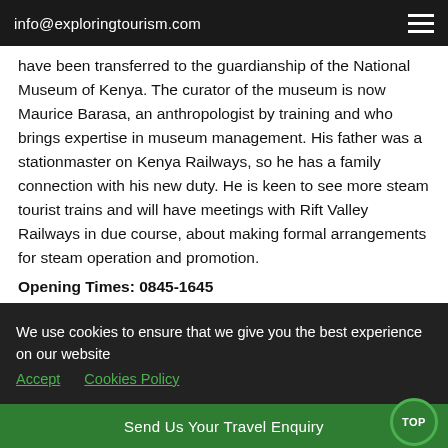info@exploringtourism.com
have been transferred to the guardianship of the National Museum of Kenya. The curator of the museum is now Maurice Barasa, an anthropologist by training and who brings expertise in museum management. His father was a stationmaster on Kenya Railways, so he has a family connection with his new duty. He is keen to see more steam tourist trains and will have meetings with Rift Valley Railways in due course, about making formal arrangements for steam operation and promotion.
Opening Times: 0845-1645
Normally 7 days a week, including most Public Holidays
[Figure (photo): A steam locomotive (black and red) displayed outdoors, with trees visible in the background — likely at the Kenya Railway Museum in Nairobi.]
We use cookies to ensure that we give you the best experience on our website   Accept   Cookies Policy
Send Us Your Travel Enquiry